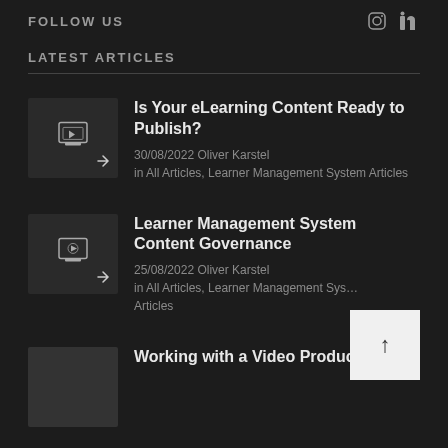FOLLOW US
LATEST ARTICLES
Is Your eLearning Content Ready to Publish?
30/08/2022 Oliver Karstel
in All Articles, Learner Management System Articles
[Figure (illustration): Dark thumbnail image with a screen/monitor icon and arrow]
Learner Management System Content Governance
25/08/2022 Oliver Karstel
in All Articles, Learner Management System Articles
[Figure (illustration): Dark thumbnail image with a screen/monitor icon and arrow]
Working with a Video Production